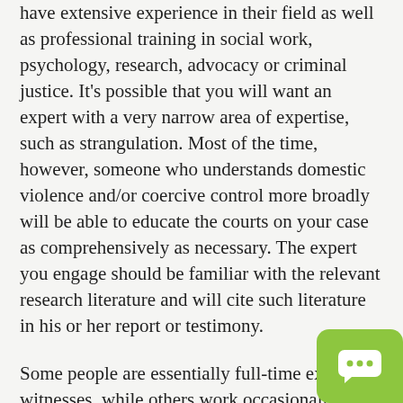have extensive experience in their field as well as professional training in social work, psychology, research, advocacy or criminal justice. It's possible that you will want an expert with a very narrow area of expertise, such as strangulation. Most of the time, however, someone who understands domestic violence and/or coercive control more broadly will be able to educate the courts on your case as comprehensively as necessary. The expert you engage should be familiar with the relevant research literature and will cite such literature in his or her report or testimony.
Some people are essentially full-time expert witnesses, while others work occasionally in this area in addition to working as professors or clinicians or in other positions. Someone who has done three hundred cases may not be a better choice than someone who has done...